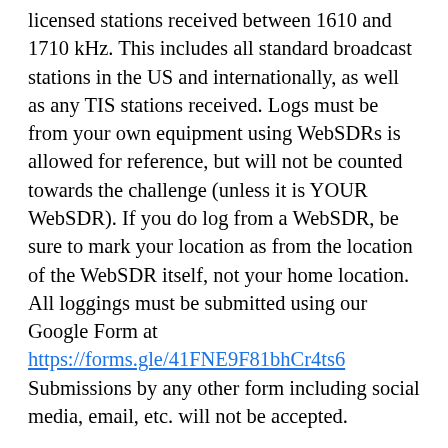licensed stations received between 1610 and 1710 kHz.  This includes all standard broadcast stations in the US and internationally, as well as any TIS stations received.  Logs must be from your own equipment using WebSDRs is allowed for reference, but will not be counted towards the challenge (unless it is YOUR WebSDR).  If you do log from a WebSDR, be sure to mark your location as from the location of the WebSDR itself, not your home location.  All loggings must be submitted using our Google Form at https://forms.gle/41FNE9F81bhCr4ts6  Submissions by any other form including social media, email, etc. will not be accepted.
An eCertificate will be sent to the DXer with the most logged stations during the challenge time period.  Additional eCertificates may be presented at the discretion of DX Central.
Here for 73 and best of DXing